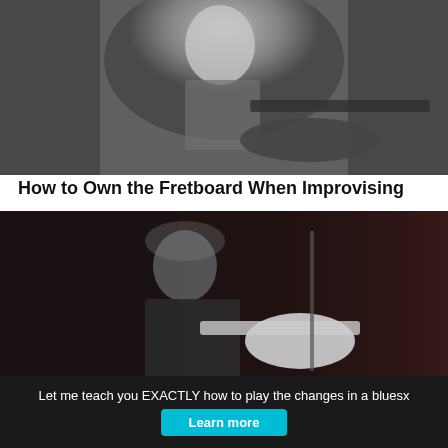[Figure (photo): Black and white photo of a guitarist performing on stage, playing an electric guitar]
How to Own the Fretboard When Improvising
[Figure (photo): Color photo of a guitarist in a dark setting playing a white electric guitar, wearing a dark shirt]
How I Use Wayne Krantz’ Improviser’s OS Book
Let me teach you EXACTLY how to play the changes in a blues
Learn more